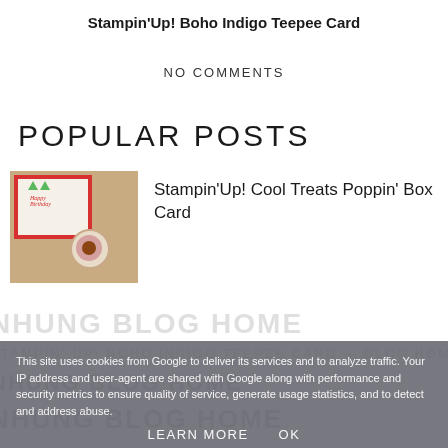Stampin'Up! Boho Indigo Teepee Card
NO COMMENTS
POPULAR POSTS
[Figure (photo): Photo of birthday card craft project with red border card and circular card with ice cream cupcake motif on tan/kraft background]
Stampin'Up! Cool Treats Poppin' Box Card
This site uses cookies from Google to deliver its services and to analyze traffic. Your IP address and user-agent are shared with Google along with performance and security metrics to ensure quality of service, generate usage statistics, and to detect and address abuse.
LEARN MORE   OK